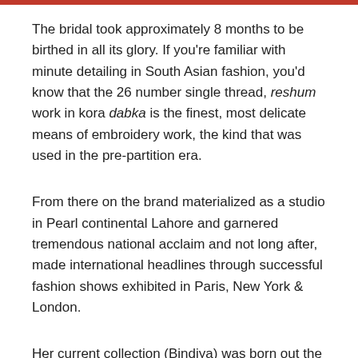The bridal took approximately 8 months to be birthed in all its glory. If you're familiar with minute detailing in South Asian fashion, you'd know that the 26 number single thread, reshum work in kora dabka is the finest, most delicate means of embroidery work, the kind that was used in the pre-partition era.
From there on the brand materialized as a studio in Pearl continental Lahore and garnered tremendous national acclaim and not long after, made international headlines through successful fashion shows exhibited in Paris, New York & London.
Her current collection (Bindiya) was born out the...